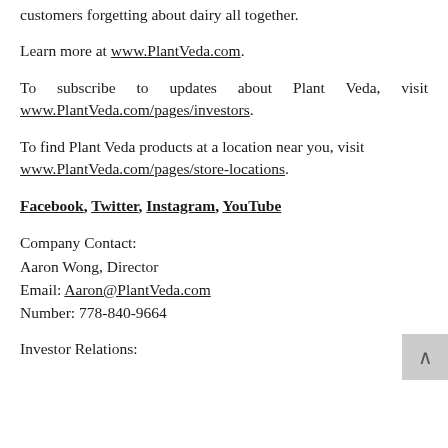customers forgetting about dairy all together.
Learn more at www.PlantVeda.com.
To subscribe to updates about Plant Veda, visit www.PlantVeda.com/pages/investors.
To find Plant Veda products at a location near you, visit www.PlantVeda.com/pages/store-locations.
Facebook, Twitter, Instagram, YouTube
Company Contact:
Aaron Wong, Director
Email: Aaron@PlantVeda.com
Number: 778-840-9664
Investor Relations: